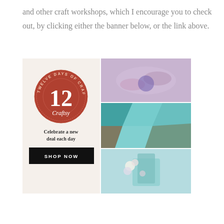and other craft workshops, which I encourage you to check out, by clicking either the banner below, or the link above.
[Figure (infographic): Craftsy 'Twelve Days of Craftsy 12' promotional banner with a circular terracotta-red badge logo on the left showing '12' and 'Craftsy' text, with 'Celebrate a new deal each day' text and a black 'SHOP NOW' button below; three photos on the right showing hands knitting purple yarn, a patchwork quilt in teal and brown, and a teal decorated cake with white roses.]